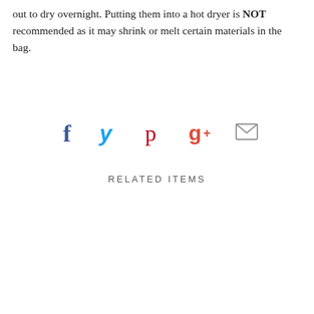out to dry overnight. Putting them into a hot dryer is NOT recommended as it may shrink or melt certain materials in the bag.
[Figure (infographic): Social sharing icons row: Facebook (f), Twitter (bird/t), Pinterest (p), Google+ (g+), Email (envelope)]
RELATED ITEMS